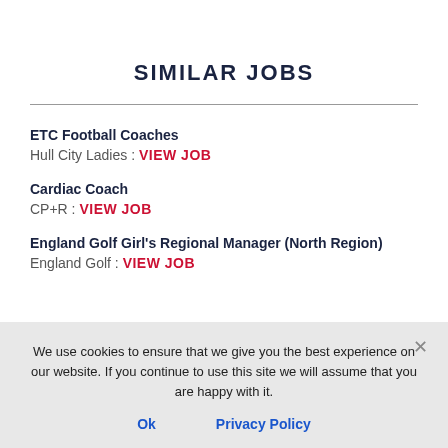SIMILAR JOBS
ETC Football Coaches
Hull City Ladies : VIEW JOB
Cardiac Coach
CP+R : VIEW JOB
England Golf Girl's Regional Manager (North Region)
England Golf : VIEW JOB
We use cookies to ensure that we give you the best experience on our website. If you continue to use this site we will assume that you are happy with it.